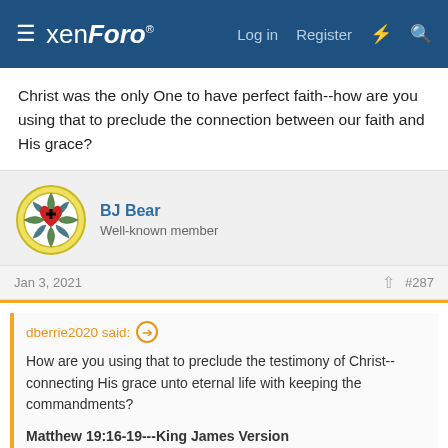xenForo® Log in Register
Christ was the only One to have perfect faith--how are you using that to preclude the connection between our faith and His grace?
BJ Bear
Well-known member
Jan 3, 2021  #287
dberrie2020 said: ⊕

How are you using that to preclude the testimony of Christ--connecting His grace unto eternal life with keeping the commandments?

Matthew 19:16-19---King James Version
16 And, behold, one came and said unto him, Good Master, what good thing shall I do, that I may have eternal life?
17 And he said unto him, Why callest thou me good? there is none
Click to expand...